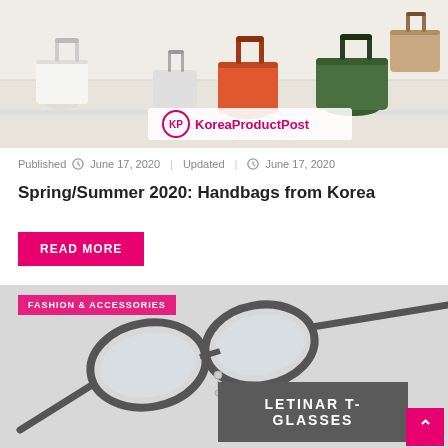[Figure (photo): Display of colorful leather handbags on white pedestals in a store setting, with KoreaProductPost logo overlay]
Published  June 17, 2020  Updated |  June 17, 2020
Spring/Summer 2020: Handbags from Korea
READ MORE
FASHION & ACCESSORIES
[Figure (photo): Dark-framed glasses (Letinar T-Glasses) photographed at an angle on a light gray background, with 'LETINAR T-GLASSES' text overlay on dark box]